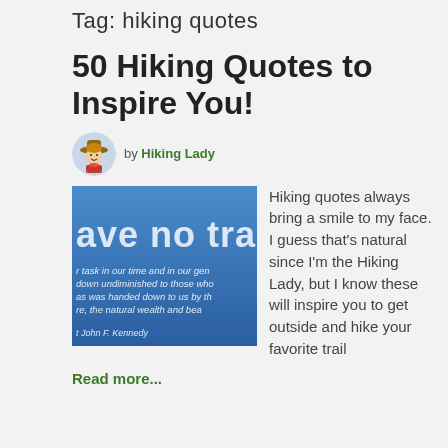Tag: hiking quotes
50 Hiking Quotes to Inspire You!
by Hiking Lady
[Figure (photo): Thumbnail image of a blue background with white text showing a hiking quote and attribution to John F. Kennedy. Visible text: 'ave no tra', 'task in our time and in our gen', 'down undiminished to those who', 'as was handed down to us by th', 're, the natural wealth and bea', 't John F. Kennedy']
Hiking quotes always bring a smile to my face.  I guess that's natural since I'm the Hiking Lady, but I know these will inspire you to get outside and hike your favorite trail
Read more...